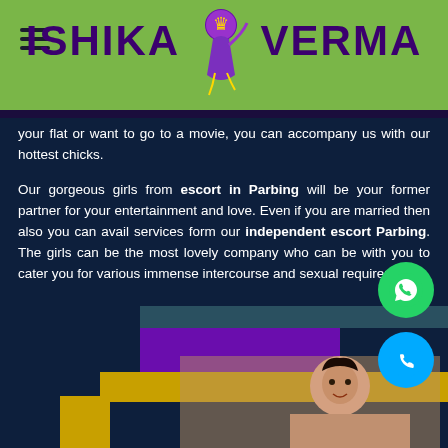ISHIKA VERMA
your flat or want to go to a movie, you can accompany us with our hottest chicks.
Our gorgeous girls from escort in Parbing will be your former partner for your entertainment and love. Even if you are married then also you can avail services form our independent escort Parbing. The girls can be the most lovely company who can be with you to cater you for various immense intercourse and sexual requirements.
[Figure (photo): Decorative colorful block pattern with a photo of a woman smiling at the bottom of the page.]